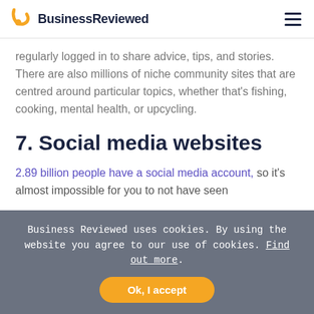BusinessReviewed
regularly logged in to share advice, tips, and stories. There are also millions of niche community sites that are centred around particular topics, whether that’s fishing, cooking, mental health, or upcycling.
7. Social media websites
2.89 billion people have a social media account, so it’s almost impossible for you to not have seen
Business Reviewed uses cookies. By using the website you agree to our use of cookies. Find out more.
Ok, I accept